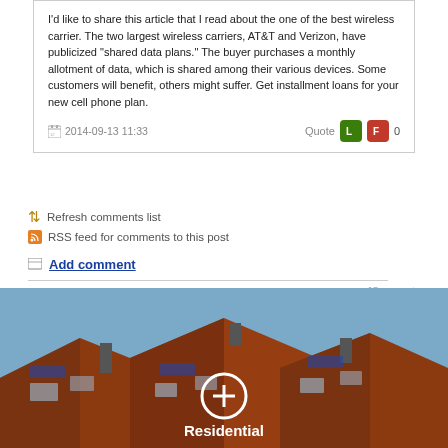I'd like to share this article that I read about the one of the best wireless carrier. The two largest wireless carriers, AT&T and Verizon, have publicized "shared data plans." The buyer purchases a monthly allotment of data, which is shared among their various devices. Some customers will benefit, others might suffer. Get installment loans for your new cell phone plan.
2014-09-13 11:33   Quote   0
Refresh comments list
RSS feed for comments to this post
Add comment
JComments
[Figure (photo): Rooftop photo showing residential buildings with red tile roofs and blue sky. A white circle with a plus sign is overlaid in the center, and the word 'Residential' appears in white bold text below the circle.]